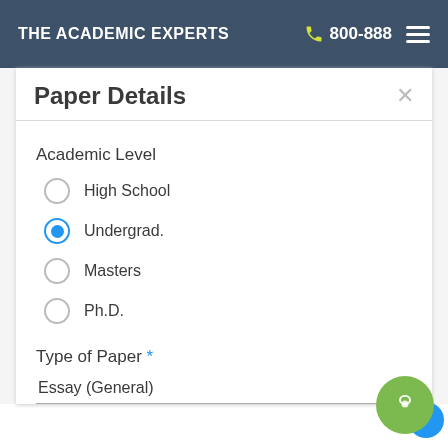THE ACADEMIC EXPERTS  800-888
Paper Details
Academic Level
High School
Undergrad.
Masters
Ph.D.
Type of Paper *
Essay (General)